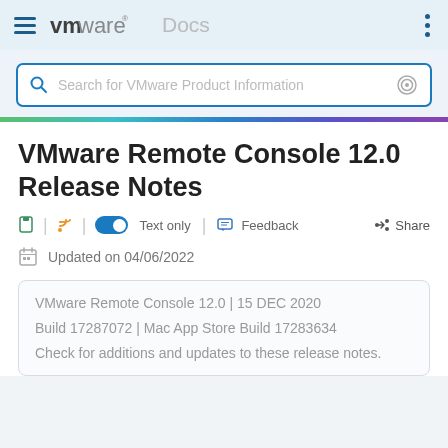VMware Docs
Search for VMware Product Information
VMware Remote Console 12.0 Release Notes
Text only | Feedback | Share
Updated on 04/06/2022
VMware Remote Console 12.0 | 15 DEC 2020
Build 17287072 | Mac App Store Build 17283634
Check for additions and updates to these release notes.